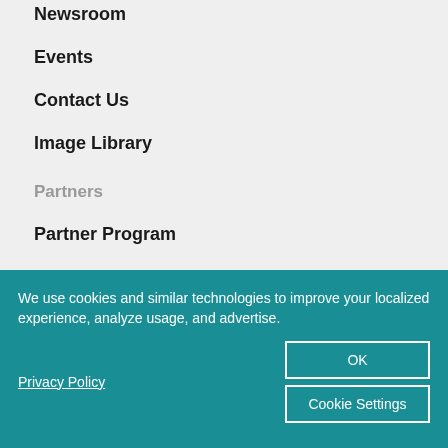Newsroom
Events
Contact Us
Image Library
Partners
Partner Program
Find a Partner
We use cookies and similar technologies to improve your localized experience, analyze usage, and advertise.
Privacy Policy
OK
Cookie Settings